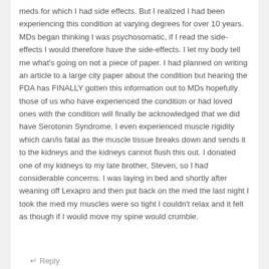meds for which I had side effects. But I realized I had been experiencing this condition at varying degrees for over 10 years. MDs began thinking I was psychosomatic, if I read the side-effects I would therefore have the side-effects. I let my body tell me what's going on not a piece of paper. I had planned on writing an article to a large city paper about the condition but hearing the FDA has FINALLY gotten this information out to MDs hopefully those of us who have experienced the condition or had loved ones with the condition will finally be acknowledged that we did have Serotonin Syndrome. I even experienced muscle rigidity which can/is fatal as the muscle tissue breaks down and sends it to the kidneys and the kidneys cannot flush this out. I donated one of my kidneys to my late brother, Steven, so I had considerable concerns. I was laying in bed and shortly after weaning off Lexapro and then put back on the med the last night I took the med my muscles were so tight I couldn't relax and it felt as though if I would move my spine would crumble.
Reply